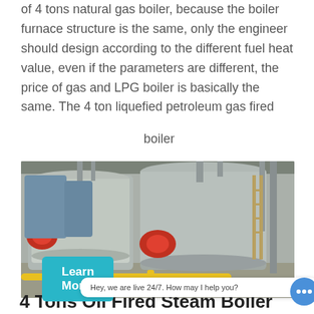of 4 tons natural gas boiler, because the boiler furnace structure is the same, only the engineer should design according to the different fuel heat value, even if the parameters are different, the price of gas and LPG boiler is basically the same. The 4 ton liquefied petroleum gas fired boiler
[Figure (photo): Industrial boiler room with large steel boilers, red burners, yellow piping on the floor, inside a metal warehouse building. WhatsApp contact bubble and 'Contact us now!' green button overlay visible.]
Hey, we are live 24/7. How may I help you?
4 Tons Oil Fired Steam Boiler